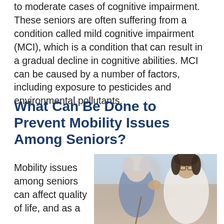to moderate cases of cognitive impairment. These seniors are often suffering from a condition called mild cognitive impairment (MCI), which is a condition that can result in a gradual decline in cognitive abilities. MCI can be caused by a number of factors, including exposure to pesticides and environmental pollutants.
What Can Be Done to Prevent Mobility Issues Among Seniors?
Mobility issues among seniors can affect quality of life, and as a
[Figure (photo): An elderly woman with white/grey hair and a younger female caregiver with dark hair and glasses. The caregiver has her hand on the elderly woman's shoulder. The elderly woman appears to be holding a walking cane. They are looking at each other warmly.]